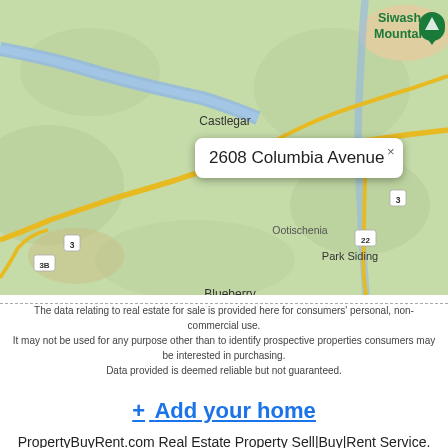[Figure (map): Google Maps view showing Castlegar area in British Columbia, Canada. Includes place names: Siwash Mountain, Castlegar, Ootischenia, Blueberry Creek, Park Siding. Road numbers: 3, 3B, 22. Yellow roads on green terrain. A tooltip/popup reads '2608 Columbia Avenue' with a close X button.]
The data relating to real estate for sale is provided here for consumers' personal, non-commercial use. It may not be used for any purpose other than to identify prospective properties consumers may be interested in purchasing. Data provided is deemed reliable but not guaranteed.
+ Add your home
PropertyBuyRent.com Real Estate Property Sell|Buy|Rent Service. Add a Real Estate Property | Real Estate Services
All rights reserved 2016-2022 propertybuyrent.com